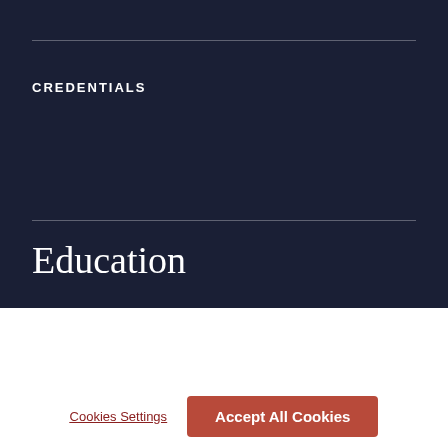CREDENTIALS
Education
J.D.  The University of Texas School of Law  2013
By clicking “Accept All Cookies”, you agree to the storing of cookies on your device to enhance site navigation, analyze site usage, and assist in our marketing efforts. Click here to view our Cookies Policy.
Cookies Settings
Accept All Cookies